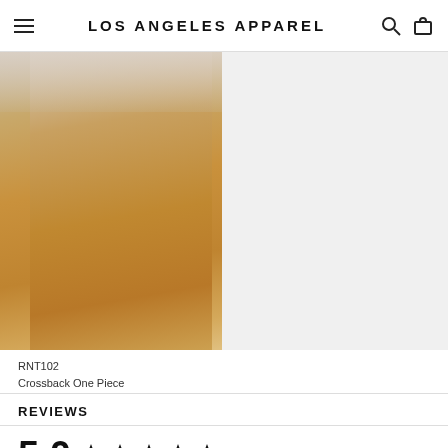LOS ANGELES APPAREL
[Figure (photo): Model wearing a golden/tan crossback one piece swimsuit, posing with one hand on hip and one raised near face, against a light background.]
RNT102
Crossback One Piece
REVIEWS
5.0 ★★★★★ Based on 1 Reviews